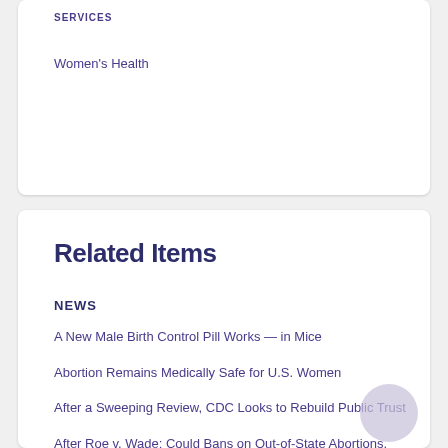SERVICES
Women's Health
Related Items
NEWS
A New Male Birth Control Pill Works — in Mice
Abortion Remains Medically Safe for U.S. Women
After a Sweeping Review, CDC Looks to Rebuild Public Trust
After Roe v. Wade: Could Bans on Out-of-State Abortions, Mail-Order Pills Be Next?
After Years of Decline, Abortions Climb in U.S.
View All 99